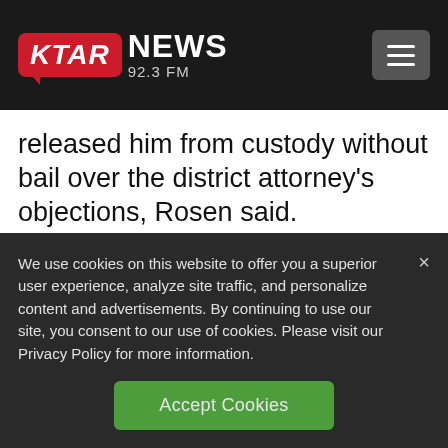[Figure (logo): KTAR NEWS 92.3 FM logo with red badge and hamburger menu button on dark header]
released him from custody without bail over the district attorney's objections, Rosen said.
The Associated Press could not immediately determine whether anyone could speak on Goularte's behalf.
We use cookies on this website to offer you a superior user experience, analyze site traffic, and personalize content and advertisements. By continuing to use our site, you consent to our use of cookies. Please visit our Privacy Policy for more information.
Accept Cookies